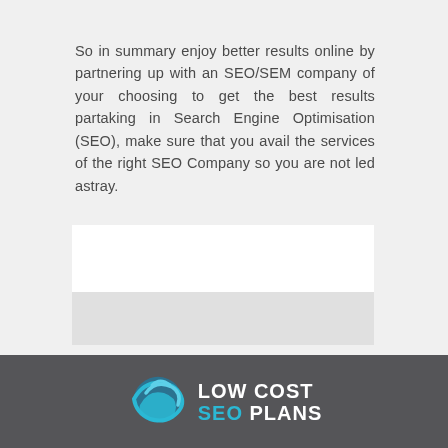So in summary enjoy better results online by partnering up with an SEO/SEM company of your choosing to get the best results partaking in Search Engine Optimisation (SEO), make sure that you avail the services of the right SEO Company so you are not led astray.
[Figure (logo): Low Cost SEO Plans logo with globe icon and text 'LOW COST SEO PLANS' on dark gray background]